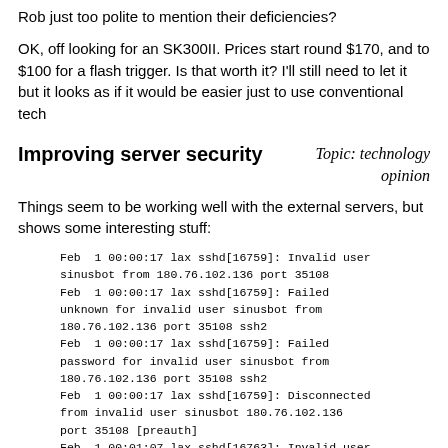Rob just too polite to mention their deficiencies?
OK, off looking for an SK300II. Prices start round $170, and to $100 for a flash trigger. Is that worth it? I'll still need to let it but it looks as if it would be easier just to use conventional tech
Improving server security
Topic: technology opinion
Things seem to be working well with the external servers, but shows some interesting stuff:
Feb  1 00:00:17 lax sshd[16759]: Invalid user sinusbot from 180.76.102.136 port 35108
Feb  1 00:00:17 lax sshd[16759]: Failed unknown for invalid user sinusbot from 180.76.102.136 port 35108 ssh2
Feb  1 00:00:17 lax sshd[16759]: Failed password for invalid user sinusbot from 180.76.102.136 port 35108 ssh2
Feb  1 00:00:17 lax sshd[16759]: Disconnected from invalid user sinusbot 180.76.102.136 port 35108 [preauth]
Feb  1 00:01:07 lax sshd[16763]: Invalid user minecraft from 178.128.124.204 port 36180
Feb  1 00:01:07 lax sshd[16763]: Failed unknown for invalid user minecraft from